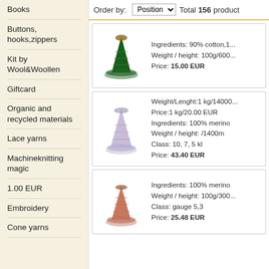Books
Buttons, hooks,zippers
Kit by Wool&Woollen
Giftcard
Organic and recycled materials
Lace yarns
Machineknitting magic
1.00 EUR
Embroidery
Cone yarns
Order by: Position  Total 156 products
Ingredients: 90% cotton,1... Weight / height: 100g/600... Price: 15.00 EUR
Weight/Lenght:1 kg/14000 Price:1 kg/20.00 EUR Ingredients: 100% merino Weight / height: /1400m Class: 10, 7, 5 kl Price: 43.40 EUR
Ingredients: 100% merino Weight / height: 100g/300... Class: gauge 5,3 Price: 25.48 EUR